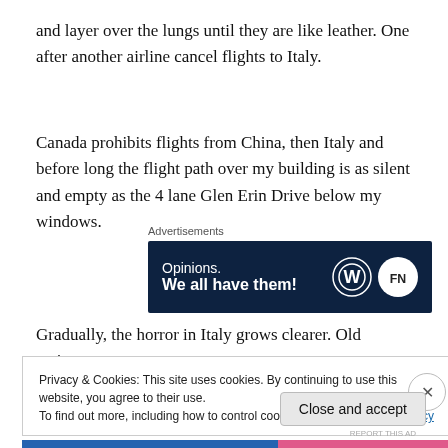and layer over the lungs until they are like leather. One after another airline cancel flights to Italy.
Canada prohibits flights from China, then Italy and before long the flight path over my building is as silent and empty as the 4 lane Glen Erin Drive below my windows.
[Figure (other): Advertisement banner with dark navy background. Text reads 'Opinions. We all have them!' with WordPress logo and another circular logo on the right.]
Gradually, the horror in Italy grows clearer. Old patients,
Privacy & Cookies: This site uses cookies. By continuing to use this website, you agree to their use.
To find out more, including how to control cookies, see here: Cookie Policy